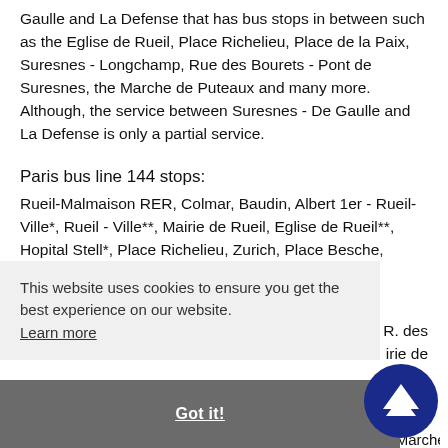Gaulle and La Defense that has bus stops in between such as the Eglise de Rueil, Place Richelieu, Place de la Paix, Suresnes - Longchamp, Rue des Bourets - Pont de Suresnes, the Marche de Puteaux and many more. Although, the service between Suresnes - De Gaulle and La Defense is only a partial service.
Paris bus line 144 stops:
Rueil-Malmaison RER, Colmar, Baudin, Albert 1er - Rueil-Ville*, Rueil - Ville**, Mairie de Rueil, Eglise de Rueil**, Hopital Stell*, Place Richelieu, Zurich, Place Besche, Dunant,
R. des irie de
, Bus
Rogers Wallace - Jouret* - Wallace - F. Eichenberger** - Marche
[Figure (other): Cookie consent banner overlay with text 'This website uses cookies to ensure you get the best experience on our website.' and a 'Learn more' link, on a grey bar with 'Got it!' button]